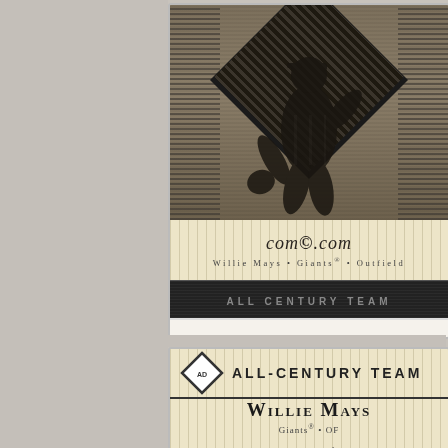[Figure (photo): Front of a Willie Mays baseball card showing player in fielding pose against a pinstriped background with diamond graphic element, com.com logo, player name/team/position, and ALL CENTURY TEAM banner at bottom]
com©.com
Willie Mays • Giants® • Outfield
ALL CENTURY TEAM
[Figure (photo): Back of a Willie Mays All-Century Team baseball card showing diamond logo, ALL-CENTURY TEAM header, player name Willie Mays, team Giants OF, and descriptive text about the player]
ALL-CENTURY TEAM
Willie Mays
Giants® • OF
The heart and soul of a Giants team that won four National League pennants, Willie Mays established himself as the game’s first “five-tool” star. The